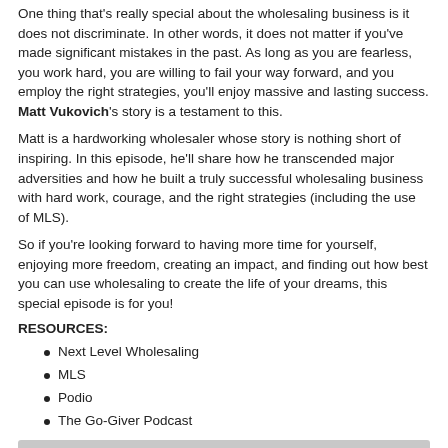One thing that's really special about the wholesaling business is it does not discriminate. In other words, it does not matter if you've made significant mistakes in the past. As long as you are fearless, you work hard, you are willing to fail your way forward, and you employ the right strategies, you'll enjoy massive and lasting success. Matt Vukovich's story is a testament to this.
Matt is a hardworking wholesaler whose story is nothing short of inspiring. In this episode, he'll share how he transcended major adversities and how he built a truly successful wholesaling business with hard work, courage, and the right strategies (including the use of MLS).
So if you're looking forward to having more time for yourself, enjoying more freedom, creating an impact, and finding out how best you can use wholesaling to create the life of your dreams, this special episode is for you!
RESOURCES:
Next Level Wholesaling
MLS
Podio
The Go-Giver Podcast
[Figure (screenshot): Audio player widget with play button, title 'WIP 229: Finding Explosive Success with the MLS', progress bar, timestamp 00:00:00, and libsyn logo]
Download this Episode